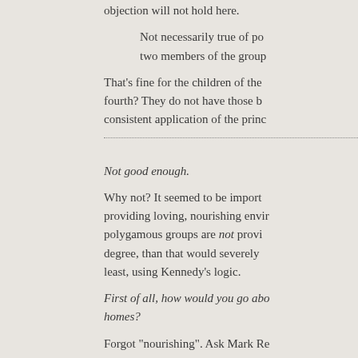objection will not hold here.
Not necessarily true of po... two members of the group...
That's fine for the children of the... fourth? They do not have those b... consistent application of the princ...
Not good enough.
Why not? It seemed to be import... providing loving, nourishing envir... polygamous groups are not provi... degree, than that would severely... least, using Kennedy's logic.
First of all, how would you go abo... homes?
Forgot "nourishing". Ask Mark Re...
Second, the necessity of having a... children was argued extensively...